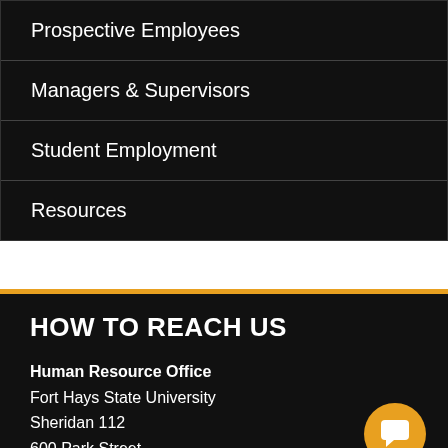Prospective Employees
Managers & Supervisors
Student Employment
Resources
HOW TO REACH US
Human Resource Office
Fort Hays State University
Sheridan 112
600 Park Street